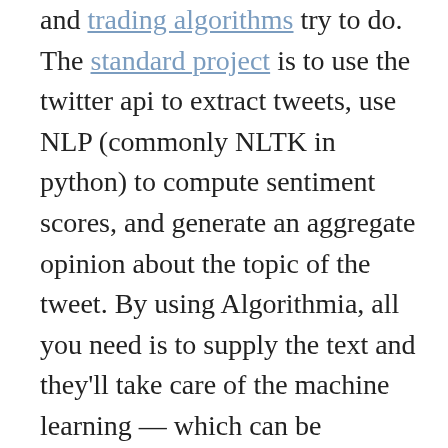and trading algorithms try to do. The standard project is to use the twitter api to extract tweets, use NLP (commonly NLTK in python) to compute sentiment scores, and generate an aggregate opinion about the topic of the tweet. By using Algorithmia, all you need is to supply the text and they'll take care of the machine learning — which can be difficult for some people to setup.
But let's get back to my actual experience.